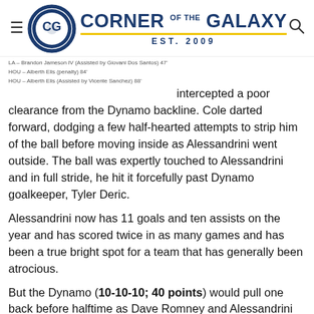Corner of the Galaxy — Est. 2009
LA – Brandon Jameson IV (Assisted by Giovani Dos Santos) 47'
HOU – Alberth Elis (penalty) 84'
HOU – Alberth Elis (Assisted by Vicente Sanchez) 88'
intercepted a poor clearance from the Dynamo backline. Cole darted forward, dodging a few half-hearted attempts to strip him of the ball before moving inside as Alessandrini went outside. The ball was expertly touched to Alessandrini and in full stride, he hit it forcefully past Dynamo goalkeeper, Tyler Deric.
Alessandrini now has 11 goals and ten assists on the year and has scored twice in as many games and has been a true bright spot for a team that has generally been atrocious.
But the Dynamo (10-10-10; 40 points) would pull one back before halftime as Dave Romney and Alessandrini would fail to box out Tomás Martínez who would push-pass a shot past